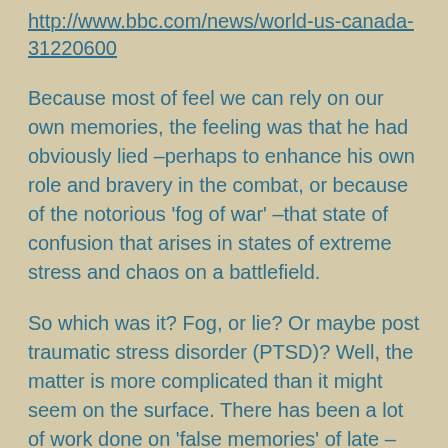http://www.bbc.com/news/world-us-canada-31220600
Because most of feel we can rely on our own memories, the feeling was that he had obviously lied –perhaps to enhance his own role and bravery in the combat, or because of the notorious 'fog of war' –that state of confusion that arises in states of extreme stress and chaos on a battlefield.
So which was it? Fog, or lie? Or maybe post traumatic stress disorder (PTSD)? Well, the matter is more complicated than it might seem on the surface. There has been a lot of work done on 'false memories' of late –how and why they form. For example: